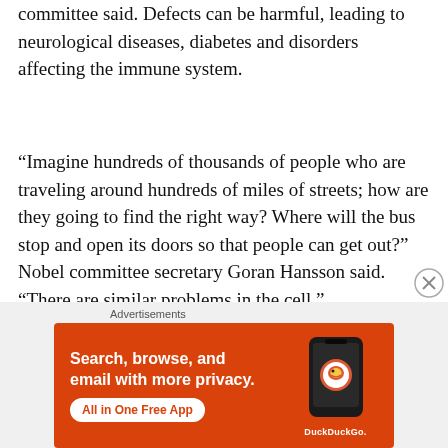committee said. Defects can be harmful, leading to neurological diseases, diabetes and disorders affecting the immune system.
“Imagine hundreds of thousands of people who are traveling around hundreds of miles of streets; how are they going to find the right way? Where will the bus stop and open its doors so that people can get out?” Nobel committee secretary Goran Hansson said. “There are similar problems in the cell.”
[Figure (other): DuckDuckGo advertisement banner with orange background showing 'Search, browse, and email with more privacy. All in One Free App' with a phone graphic and DuckDuckGo logo.]